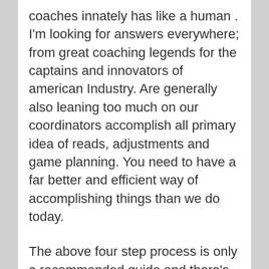coaches innately has like a human . I'm looking for answers everywhere; from great coaching legends for the captains and innovators of american Industry. Are generally also leaning too much on our coordinators accomplish all primary idea of reads, adjustments and game planning. You need to have a far better and efficient way of accomplishing things than we do today.
The above four step process is only a recommended guide and there's no doubt that every person's draft preparation and research phase glimpse slightly many different. No matter if you follow actions or not, the answer to a successful draft will be ready and confident. Do what allows feel right about stepping into draft